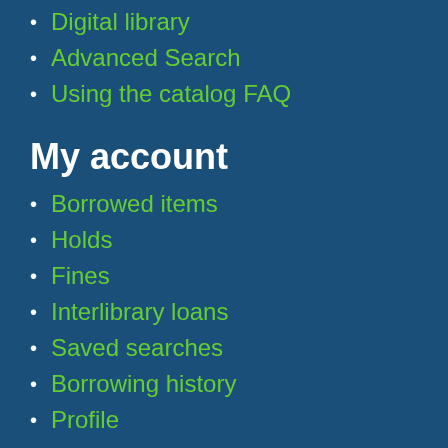Digital library
Advanced Search
Using the catalog FAQ
My account
Borrowed items
Holds
Fines
Interlibrary loans
Saved searches
Borrowing history
Profile
Language
English
Español
Français